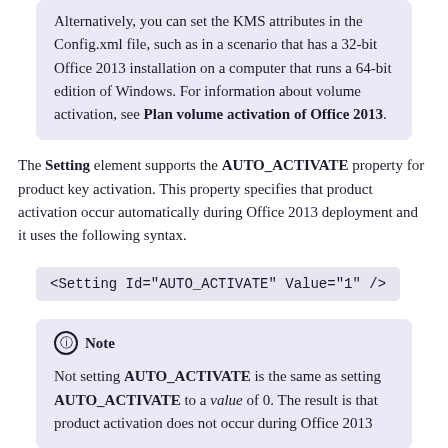Alternatively, you can set the KMS attributes in the Config.xml file, such as in a scenario that has a 32-bit Office 2013 installation on a computer that runs a 64-bit edition of Windows. For information about volume activation, see Plan volume activation of Office 2013.
The Setting element supports the AUTO_ACTIVATE property for product key activation. This property specifies that product activation occur automatically during Office 2013 deployment and it uses the following syntax.
Note
Not setting AUTO_ACTIVATE is the same as setting AUTO_ACTIVATE to a value of 0. The result is that product activation does not occur during Office 2013